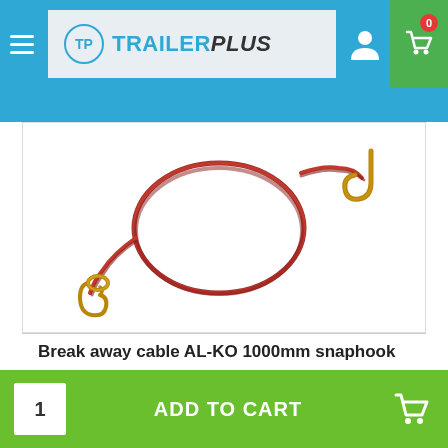TrailerPlus — navigation header with logo, user icon, and cart (0 items)
[Figure (photo): Break away cable AL-KO 1000mm snaphook — red coiled cable with a carabiner/snap hook on one end and a metal hook on the other end, photographed on white background]
Break away cable AL-KO 1000mm snaphook
ADD TO CART
Add to cart bar with quantity 1 and ADD TO CART button